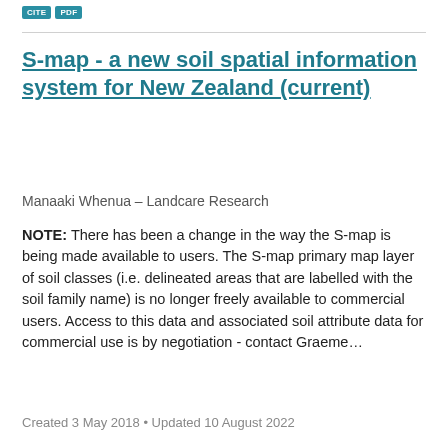CITE | PDF
S-map - a new soil spatial information system for New Zealand (current)
Manaaki Whenua – Landcare Research
NOTE: There has been a change in the way the S-map is being made available to users. The S-map primary map layer of soil classes (i.e. delineated areas that are labelled with the soil family name) is no longer freely available to commercial users. Access to this data and associated soil attribute data for commercial use is by negotiation - contact Graeme...
Created 3 May 2018 • Updated 10 August 2022